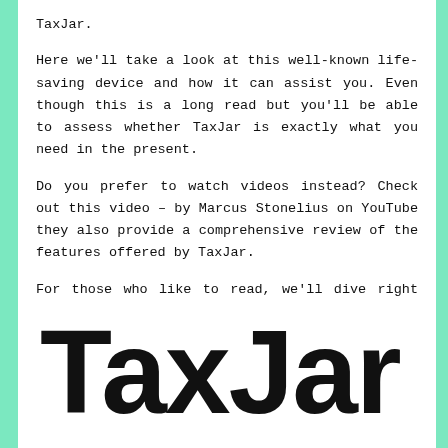TaxJar.
Here we'll take a look at this well-known life-saving device and how it can assist you. Even though this is a long read but you'll be able to assess whether TaxJar is exactly what you need in the present.
Do you prefer to watch videos instead? Check out this video – by Marcus Stonelius on YouTube they also provide a comprehensive review of the features offered by TaxJar.
For those who like to read, we'll dive right into.
[Figure (logo): TaxJar logo in large bold black sans-serif font on white background]